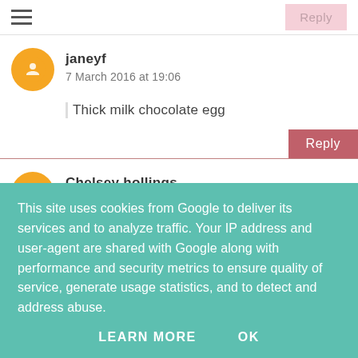Reply
janeyf
7 March 2016 at 19:06
Thick milk chocolate egg
Reply
Chelsey hollings
7 March 2016 at 19:15
Easter Eggs
This site uses cookies from Google to deliver its services and to analyze traffic. Your IP address and user-agent are shared with Google along with performance and security metrics to ensure quality of service, generate usage statistics, and to detect and address abuse.
LEARN MORE    OK